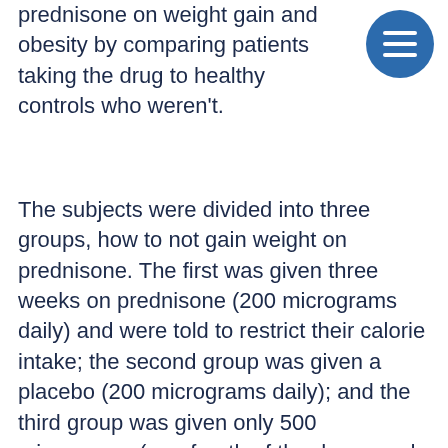prednisone on weight gain and obesity by comparing patients taking the drug to healthy controls who weren't.
The subjects were divided into three groups, how to not gain weight on prednisone. The first was given three weeks on prednisone (200 micrograms daily) and were told to restrict their calorie intake; the second group was given a placebo (200 micrograms daily); and the third group was given only 500 micrograms (one-fourth of the dose used for the first group), how to use clen for weight loss.
Before and after the treatment, the researchers measured body weight and height, body fat measurements, and the severity of depressive symptoms, how to lose weight while on corticosteroids. Their results: The patients taking prednisone had a